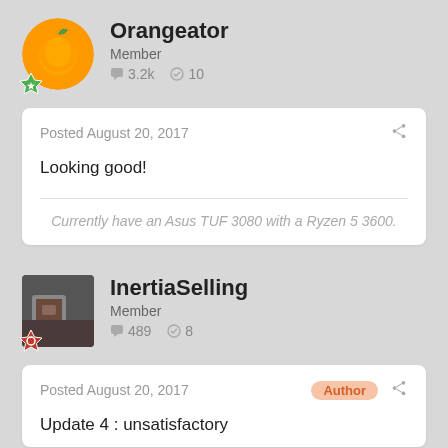Orangeator
Member
3.2k  10
Posted August 20, 2017
Looking good!
Currently have an Asus TUF 3080 with a Ryzen 5 3600.
InertiaSelling
Member
489  8
Posted August 20, 2017
Update 4 : unsatisfactory